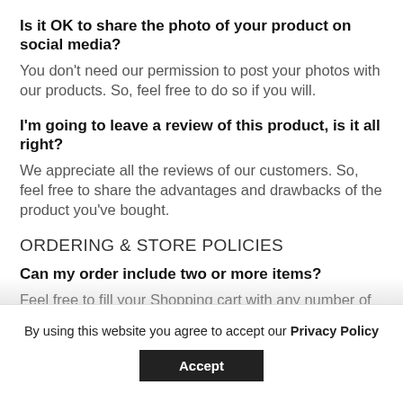Is it OK to share the photo of your product on social media?
You don’t need our permission to post your photos with our products. So, feel free to do so if you will.
I’m going to leave a review of this product, is it all right?
We appreciate all the reviews of our customers. So, feel free to share the advantages and drawbacks of the product you’ve bought.
ORDERING & STORE POLICIES
Can my order include two or more items?
Feel free to fill your Shopping cart with any number of
By using this website you agree to accept our Privacy Policy